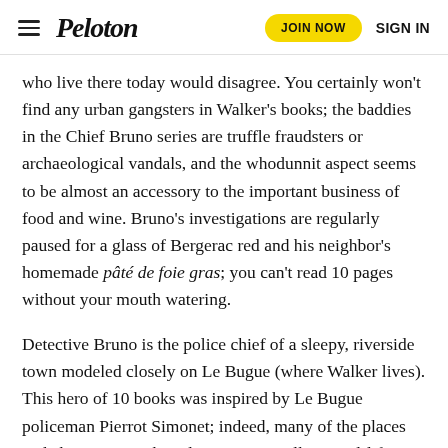Peloton | JOIN NOW | SIGN IN
who live there today would disagree. You certainly won't find any urban gangsters in Walker's books; the baddies in the Chief Bruno series are truffle fraudsters or archaeological vandals, and the whodunnit aspect seems to be almost an accessory to the important business of food and wine. Bruno's investigations are regularly paused for a glass of Bergerac red and his neighbor's homemade pâté de foie gras; you can't read 10 pages without your mouth watering.
Detective Bruno is the police chief of a sleepy, riverside town modeled closely on Le Bugue (where Walker lives). This hero of 10 books was inspired by Le Bugue policeman Pierrot Simonet; indeed, many of the places and characters are based on Martin Walker's real-life experiences and friends. When I went to make a story about his Périgord life, this bestselling